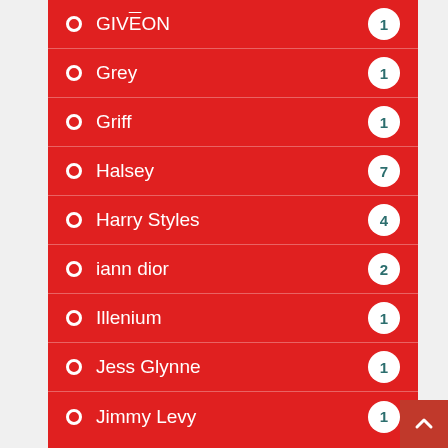GIVĒON 1
Grey 1
Griff 1
Halsey 7
Harry Styles 4
iann dior 2
Illenium 1
Jess Glynne 1
Jimmy Levy 1